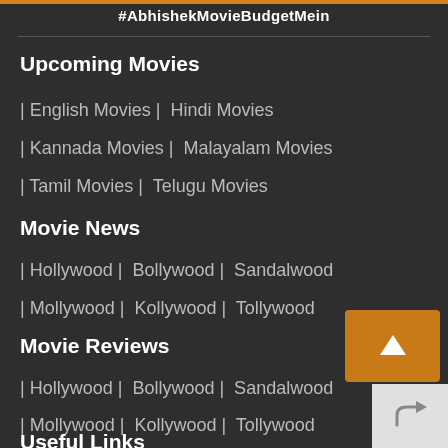#AbhishekMovieBudgetMein
Upcoming Movies
| English Movies | Hindi Movies
| Kannada Movies | Malayalam Movies
| Tamil Movies | Telugu Movies
Movie News
| Hollywood | Bollywood | Sandalwood
| Mollywood | Kollywood | Tollywood
Movie Reviews
| Hollywood | Bollywood | Sandalwood
| Mollywood | Kollywood | Tollywood
Useful Links